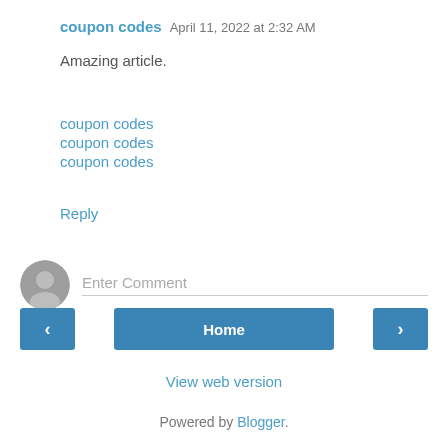coupon codes  April 11, 2022 at 2:32 AM
Amazing article.
coupon codes
coupon codes
coupon codes
Reply
Enter Comment
Home
View web version
Powered by Blogger.